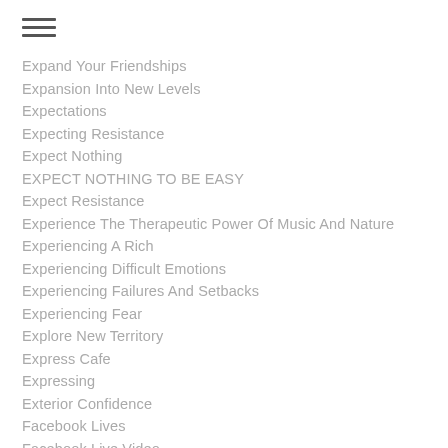Expand Your Friendships
Expansion Into New Levels
Expectations
Expecting Resistance
Expect Nothing
EXPECT NOTHING TO BE EASY
Expect Resistance
Experience The Therapeutic Power Of Music And Nature
Experiencing A Rich
Experiencing Difficult Emotions
Experiencing Failures And Setbacks
Experiencing Fear
Explore New Territory
Express Cafe
Expressing
Exterior Confidence
Facebook Lives
Facebook Live Video